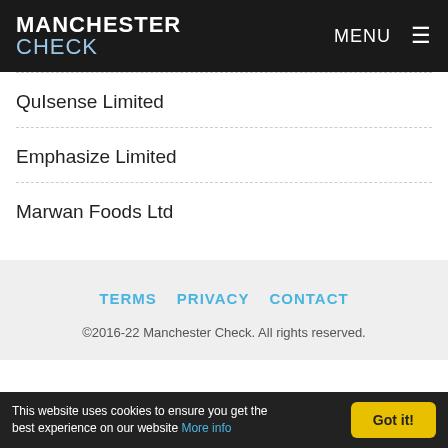MANCHESTER CHECK | MENU
QuIsense Limited
Emphasize Limited
Marwan Foods Ltd
TERMS   PRIVACY   CONTACT
©2016-22 Manchester Check. All rights reserved.
This website uses cookies to ensure you get the best experience on our website More info